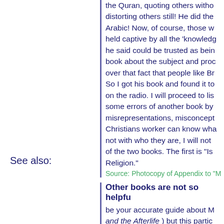the Quran, quoting others witho distorting others still! He did the Arabic! Now, of course, those w held captive by all the 'knowledg he said could be trusted as bein book about the subject and proc over that fact that people like Br So I got his book and found it to on the radio. I will proceed to lis some errors of another book by misrepresentations, misconcept Christians worker can know wha not with who they are, I will not of the two books. The first is "Is Religion."
Source: Photocopy of Appendix to "M
See also:
Other books are not so helpfu
be your accurate guide about M and the Afterlife ) but this partic